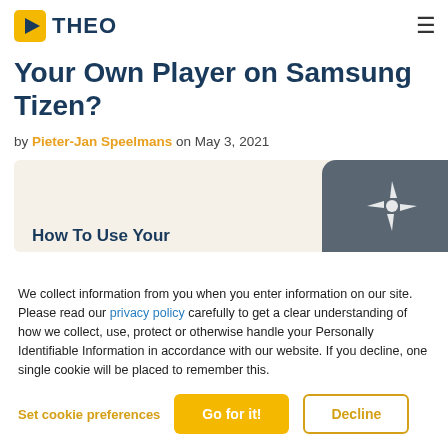THEO
Your Own Player on Samsung Tizen?
by Pieter-Jan Speelmans on May 3, 2021
[Figure (screenshot): Partial article thumbnail showing 'How To Use Your' heading with THEO logo and a dark panel with a windmill/star shape icon on the right side.]
We collect information from you when you enter information on our site. Please read our privacy policy carefully to get a clear understanding of how we collect, use, protect or otherwise handle your Personally Identifiable Information in accordance with our website. If you decline, one single cookie will be placed to remember this.
Set cookie preferences   Go for it!   Decline